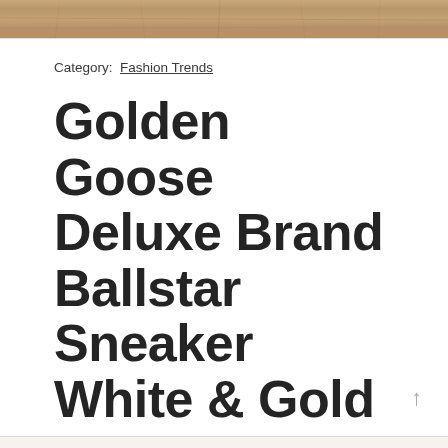[Figure (photo): Wooden plank texture background image at the top of the page]
Category:  Fashion Trends
Golden Goose Deluxe Brand Ballstar Sneaker White & Gold
Your continued use of our Companies after the brand new phrases take impact can be topic to the new terms, so in case you disagree with the adjustments within the new terms, you need to cease using our